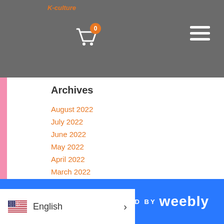K-culture
Archives
August 2022
July 2022
June 2022
May 2022
April 2022
March 2022
February 2022
January 2022
December 2021
November 2021
October 2021
September 2021
August 2021
July 2021
June 2021
May 2021
April 2021
October 2020
July 2020
POWERED BY weebly